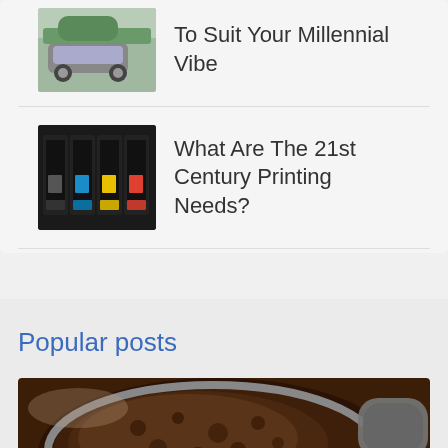[Figure (photo): Thumbnail of a car (SUV) parked near trees]
To Suit Your Millennial Vibe
[Figure (photo): Thumbnail of printer ink cartridges]
What Are The 21st Century Printing Needs?
Popular posts
[Figure (photo): Close-up photo of coffee grounds in a portafilter with espresso machine handle]